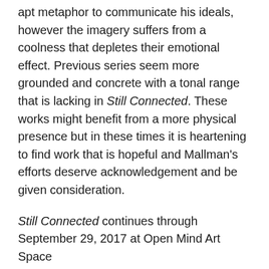apt metaphor to communicate his ideals, however the imagery suffers from a coolness that depletes their emotional effect. Previous series seem more grounded and concrete with a tonal range that is lacking in Still Connected. These works might benefit from a more physical presence but in these times it is heartening to find work that is hopeful and Mallman's efforts deserve acknowledgement and be given consideration.
Still Connected continues through September 29, 2017 at Open Mind Art Space
11631 Santa Monica Boulevard, Los Angeles, CA